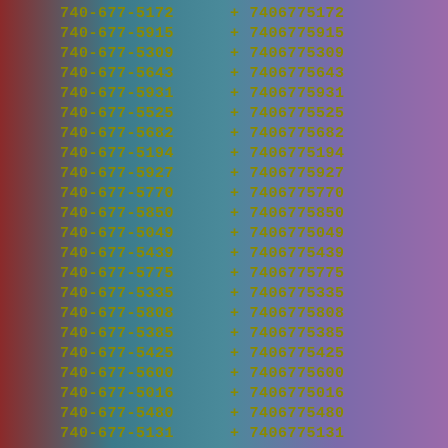740-677-5172 + 7406775172
740-677-5915 + 7406775915
740-677-5309 + 7406775309
740-677-5643 + 7406775643
740-677-5931 + 7406775931
740-677-5525 + 7406775525
740-677-5682 + 7406775682
740-677-5194 + 7406775194
740-677-5927 + 7406775927
740-677-5770 + 7406775770
740-677-5850 + 7406775850
740-677-5049 + 7406775049
740-677-5439 + 7406775439
740-677-5775 + 7406775775
740-677-5335 + 7406775335
740-677-5808 + 7406775808
740-677-5385 + 7406775385
740-677-5425 + 7406775425
740-677-5600 + 7406775600
740-677-5016 + 7406775016
740-677-5480 + 7406775480
740-677-5131 + 7406775131